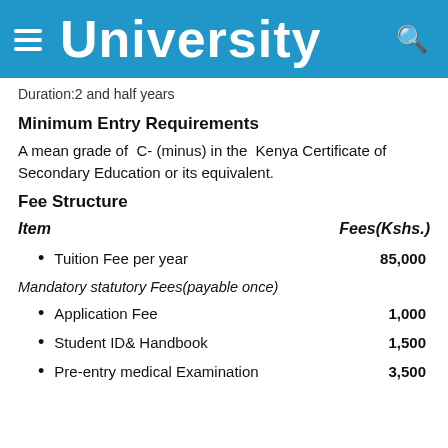University
Duration:2 and half years
Minimum Entry Requirements
A mean grade of C- (minus) in the Kenya Certificate of Secondary Education or its equivalent.
Fee Structure
Item    Fees(Kshs.)
Tuition Fee per year    85,000
Mandatory statutory Fees(payable once)
Application Fee    1,000
Student ID& Handbook    1,500
Pre-entry medical Examination    3,500